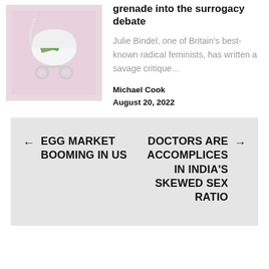[Figure (photo): A white decorative baby carriage/pram containing rolled US dollar bills on a pink background]
grenade into the surrogacy debate
Julie Bindel, one of Britain's best-known radical feminists, has written a savage critique…
Michael Cook
August 20, 2022
← EGG MARKET BOOMING IN US
DOCTORS ARE ACCOMPLICES IN INDIA'S SKEWED SEX RATIO →